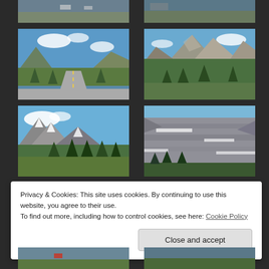[Figure (photo): Partial view of mountain road with vehicles, cropped at top]
[Figure (photo): Partial view of mountain road scene, cropped at top right]
[Figure (photo): Mountain road scene with blue sky, clouds, green forested slopes and road stretching into mountains]
[Figure (photo): Mountain peaks with rocky slopes, evergreen trees in foreground, blue sky]
[Figure (photo): Mountain landscape with snow-capped peaks, conifer trees, blue sky with clouds]
[Figure (photo): Rocky mountain cliff face with snow patches and conifer trees]
Privacy & Cookies: This site uses cookies. By continuing to use this website, you agree to their use.
To find out more, including how to control cookies, see here: Cookie Policy
[Figure (photo): Partial bottom photo - mountain road scene with red vehicle, cropped]
[Figure (photo): Partial bottom right photo - mountain road scene, cropped]